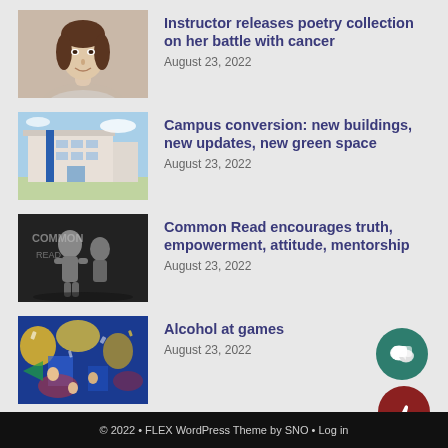Instructor releases poetry collection on her battle with cancer
August 23, 2022
Campus conversion: new buildings, new updates, new green space
August 23, 2022
Common Read encourages truth, empowerment, attitude, mentorship
August 23, 2022
Alcohol at games
August 23, 2022
© 2022 • FLEX WordPress Theme by SNO • Log in